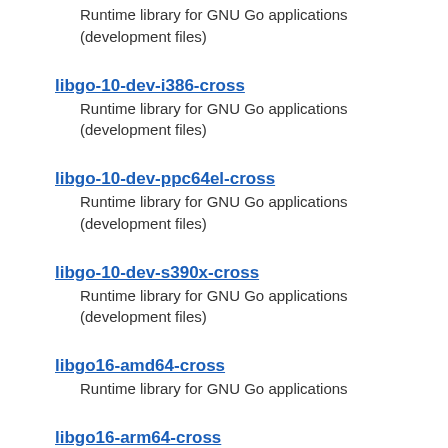Runtime library for GNU Go applications (development files)
libgo-10-dev-i386-cross
Runtime library for GNU Go applications (development files)
libgo-10-dev-ppc64el-cross
Runtime library for GNU Go applications (development files)
libgo-10-dev-s390x-cross
Runtime library for GNU Go applications (development files)
libgo16-amd64-cross
Runtime library for GNU Go applications
libgo16-arm64-cross